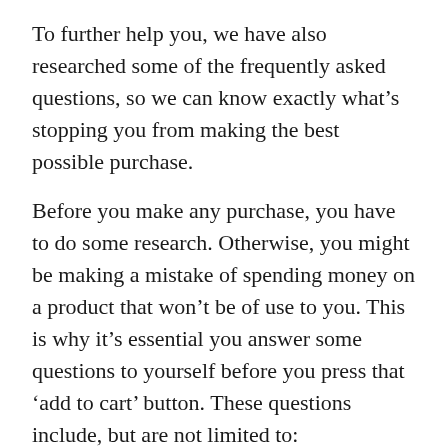To further help you, we have also researched some of the frequently asked questions, so we can know exactly what’s stopping you from making the best possible purchase.
Before you make any purchase, you have to do some research. Otherwise, you might be making a mistake of spending money on a product that won’t be of use to you. This is why it’s essential you answer some questions to yourself before you press that ‘add to cart’ button. These questions include, but are not limited to:
Will this audio technica ath t200 be worth my money?
What features should I look for in the best audio technica ath t200?
What are the advantages of said audio technica